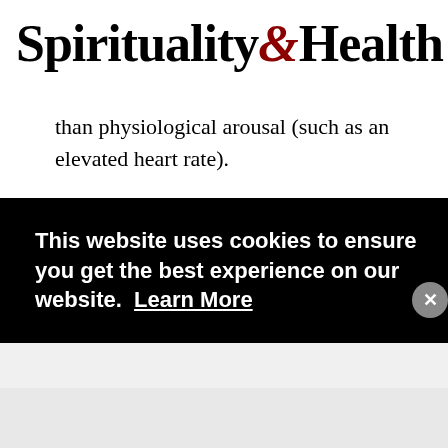Spirituality & Health
than physiological arousal (such as an elevated heart rate).
The reason bedtime stories for adults work is because they distract us from our stress. For many people,
ed
This website uses cookies to ensure you get the best experience on our website. Learn More